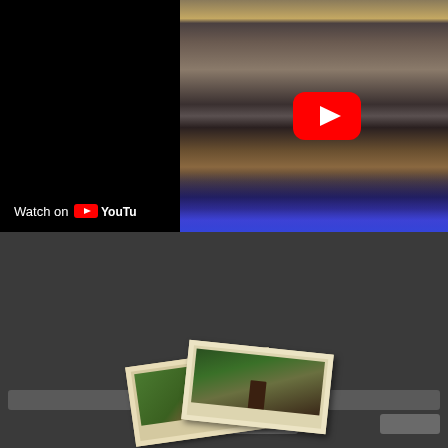[Figure (screenshot): YouTube embedded video player showing a hotel bedroom with a large bed, white pillows, striped bedspread, wooden bench at foot of bed, blue LED underglow lighting, and decorative backlit headboard panel. A large red YouTube play button is overlaid on the right half of the video. The left half shows a dark black panel with 'Watch on YouTube' text and icon in the bottom left corner.]
[Figure (screenshot): Dark gray website interface area below the video, showing input fields/bars and button placeholders, and a partially visible photo thumbnail strip at the bottom showing two overlapping polaroid-style photographs of a building with trees and a chimney.]